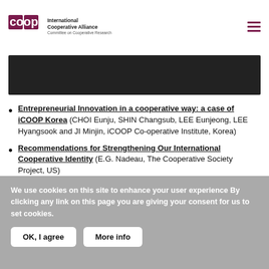International Cooperative Alliance – Committee on Cooperative Research
[Figure (photo): Dark banner image at top of content area]
Entrepreneurial Innovation in a cooperative way: a case of iCOOP Korea (CHOI Eunju, SHIN Changsub, LEE Eunjeong, LEE Hyangsook and JI Minjin, iCOOP Co-operative Institute, Korea)
Recommendations for Strengthening Our International Cooperative Identity (E.G. Nadeau, The Cooperative Society Project, US)
We use cookies on this site to enhance your user experience By clicking any link on this page you are giving your consent for us to set cookies.